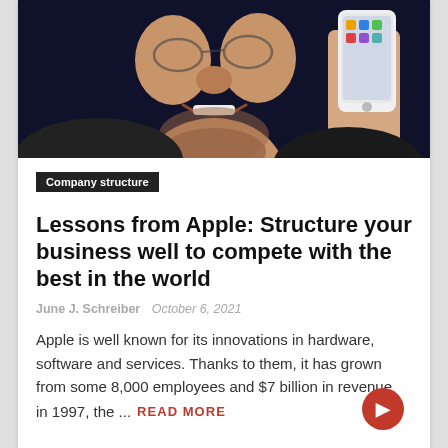[Figure (photo): Photo of a smiling man with short grey stubble beard and glasses, holding up a white smartphone (iPhone) against a dark navy background. The image is cropped showing from the chin/lower face area upward, cut off at the top.]
Company structure
Lessons from Apple: Structure your business well to compete with the best in the world
June J. Schreiber  October 6, 2021
Apple is well known for its innovations in hardware, software and services. Thanks to them, it has grown from some 8,000 employees and $7 billion in revenue in 1997, the ...  READ MORE